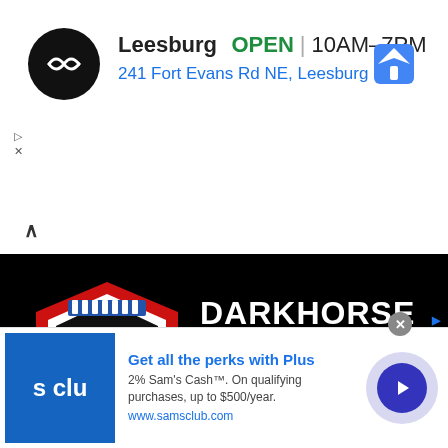[Figure (screenshot): Google Maps listing for Leesburg location showing store open status 10AM-7PM and address 241 Fort Evans Rd NE, Leesburg with circular logo and navigation icon]
[Figure (logo): Darkhorse Press logo on black background with shield emblem (red, white, blue) and bold white text DARKHORSE PRESS, address 10 CANEBRAKE BLVD. STE. 110-020 FLOWOOD, MS 39232, phone 769-333-5038]
[Figure (screenshot): Sam's Club advertisement: Get all the perks with Plus. 2% Sam's Cash. On qualifying purchases, up to $500/year. www.samsclub.com]